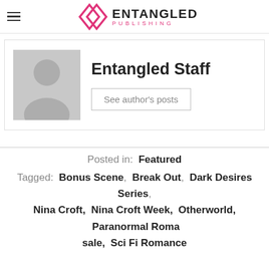Entangled Publishing
[Figure (logo): Entangled Publishing logo: pink diamond/rhombus shapes and text 'ENTANGLED PUBLISHING']
Entangled Staff
See author's posts
Posted in: Featured
Tagged: Bonus Scene, Break Out, Dark Desires Series, Nina Croft, Nina Croft Week, Otherworld, Paranormal Roma... sale, Sci Fi Romance